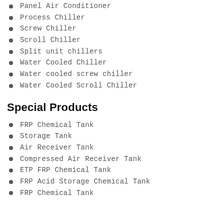Panel Air Conditioner
Process Chiller
Screw Chiller
Scroll Chiller
Split unit chillers
Water Cooled Chiller
Water cooled screw chiller
Water Cooled Scroll Chiller
Special Products
FRP Chemical Tank
Storage Tank
Air Receiver Tank
Compressed Air Receiver Tank
ETP FRP Chemical Tank
FRP Acid Storage Chemical Tank
FRP Chemical Tank